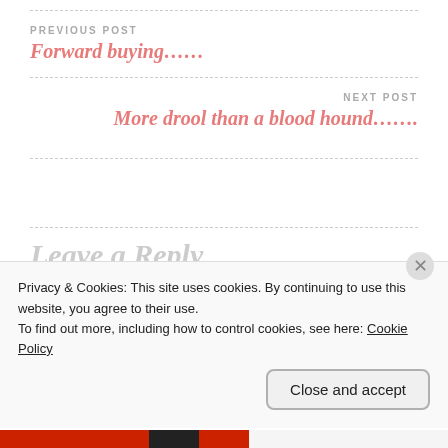PREVIOUS POST
Forward buying……
NEXT POST
More drool than a blood hound…….
Leave a Reply
Privacy & Cookies: This site uses cookies. By continuing to use this website, you agree to their use.
To find out more, including how to control cookies, see here: Cookie Policy
Close and accept